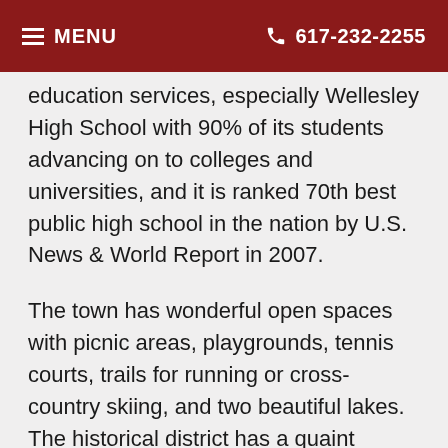MENU   617-232-2255
education services, especially Wellesley High School with 90% of its students advancing on to colleges and universities, and it is ranked 70th best public high school in the nation by U.S. News & World Report in 2007.
The town has wonderful open spaces with picnic areas, playgrounds, tennis courts, trails for running or cross-country skiing, and two beautiful lakes. The historical district has a quaint village atmosphere along Cottage Street and Central Street in Wellesley Square offers an assortment small shops and boutiques.